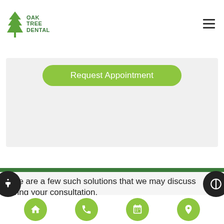OAK TREE DENTAL
Request Appointment
Here are a few such solutions that we may discuss during your consultation.
Dental Crowns
Home | Phone | Calendar | Location